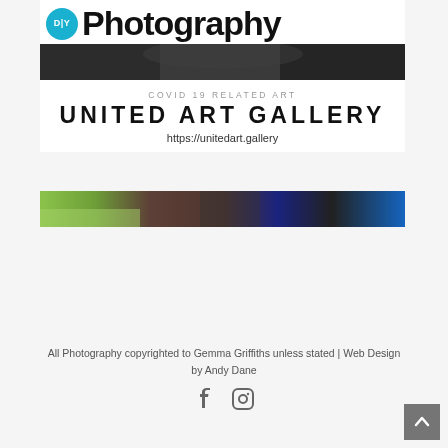[Figure (logo): DIY Photography logo with cyan circle and bold 'Photography' text]
[Figure (photo): Dark abstract photograph showing dark chairs or furniture]
[Figure (infographic): United Art Gallery advertisement: COVID 19 Related Art, UNITED ART GALLERY, https://unitedart.gallery]
[Figure (photo): Bottom photo strip showing person in yellow/green sweater and overalls at a table with colorful background]
All Photography copyrighted to Gemma Griffiths unless stated | Web Design by Andy Dane